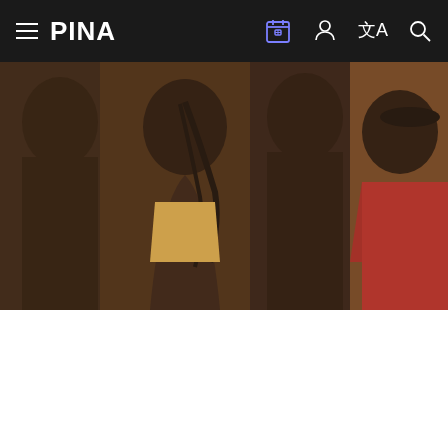PINA
[Figure (photo): Group of four dancers or performers in a studio setting, photographed in profile/side view. Three appear shirtless or in minimal clothing, one wears a red top. Warm, neutral background.]
Your privacy is important to us.
We use cookies to continuously improve this website. Do you agree?
See our privacy policy
Accept required cookies
Accept all